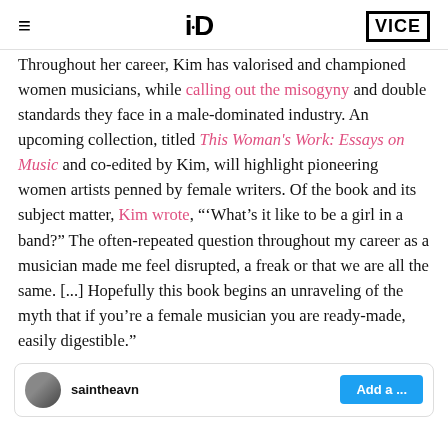≡  i-D  VICE
Throughout her career, Kim has valorised and championed women musicians, while calling out the misogyny and double standards they face in a male-dominated industry. An upcoming collection, titled This Woman's Work: Essays on Music and co-edited by Kim, will highlight pioneering women artists penned by female writers. Of the book and its subject matter, Kim wrote, "'What's it like to be a girl in a band?' The often-repeated question throughout my career as a musician made me feel disrupted, a freak or that we are all the same. [...] Hopefully this book begins an unraveling of the myth that if you're a female musician you are ready-made, easily digestible."